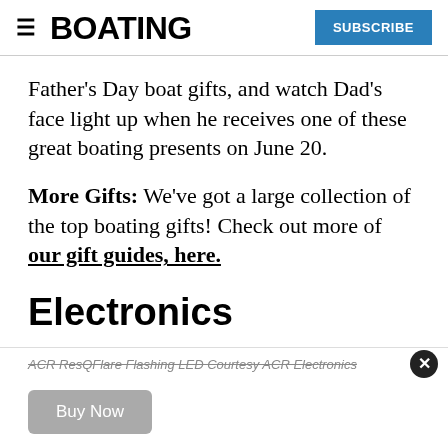≡ BOATING | SUBSCRIBE
Father's Day boat gifts, and watch Dad's face light up when he receives one of these great boating presents on June 20.
More Gifts: We've got a large collection of the top boating gifts! Check out more of our gift guides, here.
Electronics
ACR ResQFlare Flashing LED Courtesy ACR Electronics
Buy Now